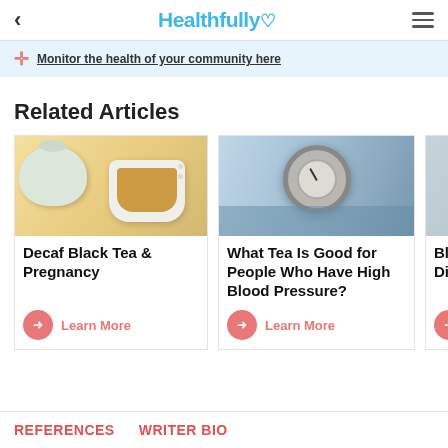< Healthfully ♡ ≡
Monitor the health of your community here
Related Articles
[Figure (photo): Tea pot and cup of tea on wooden surface]
Decaf Black Tea & Pregnancy
Learn More
[Figure (photo): Blood pressure gauge/sphygmomanometer]
What Tea Is Good for People Who Have High Blood Pressure?
Learn More
[Figure (photo): Dark blue/grey cup (partially visible)]
Black Te Disadva
Le
REFERENCES   WRITER BIO